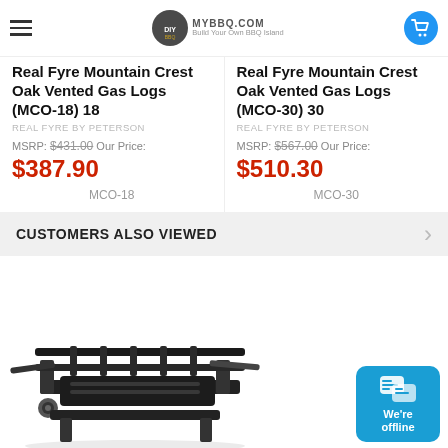MYBBQ.COM — Build Your Own BBQ Island
Real Fyre Mountain Crest Oak Vented Gas Logs (MCO-18) 18
REAL FYRE BY PETERSON
MSRP: $431.00 Our Price:
$387.90
MCO-18
Real Fyre Mountain Crest Oak Vented Gas Logs (MCO-30) 30
REAL FYRE BY PETERSON
MSRP: $567.00 Our Price:
$510.30
MCO-30
CUSTOMERS ALSO VIEWED
[Figure (photo): Black metal gas log burner/grate assembly product photo on white background]